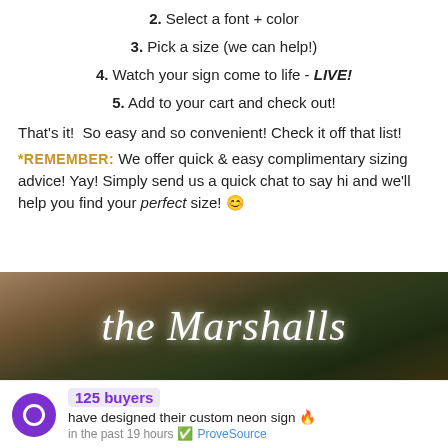2. Select a font + color
3. Pick a size (we can help!)
4. Watch your sign come to life - LIVE!
5. Add to your cart and check out!
That's it!  So easy and so convenient! Check it off that list!
*REMEMBER: We offer quick & easy complimentary sizing advice! Yay! Simply send us a quick chat to say hi and we'll help you find your perfect size! 😊
[Figure (photo): Photo of a dark green hedge wall backdrop displaying a custom neon sign reading 'the Marshalls' in white cursive script]
125 buyers have designed their custom neon sign 🔥 in the past 19 hours ✅ ProveSource